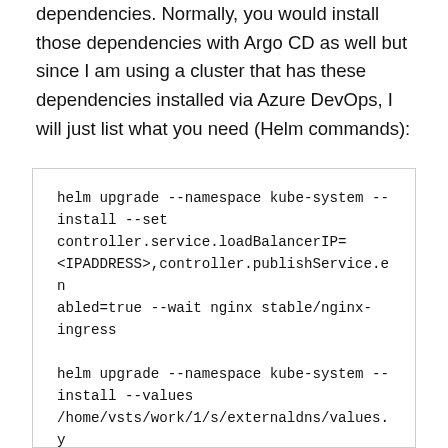dependencies. Normally, you would install those dependencies with Argo CD as well but since I am using a cluster that has these dependencies installed via Azure DevOps, I will just list what you need (Helm commands):
helm upgrade --namespace kube-system --install --set controller.service.loadBalancerIP=<IPADDRESS>,controller.publishService.enabled=true --wait nginx stable/nginx-ingress

helm upgrade --namespace kube-system --install --values /home/vsts/work/1/s/externaldns/values.yaml --set cloudflare.apiToken=<CF_SECRET> --wait externaldns stable/external-dns